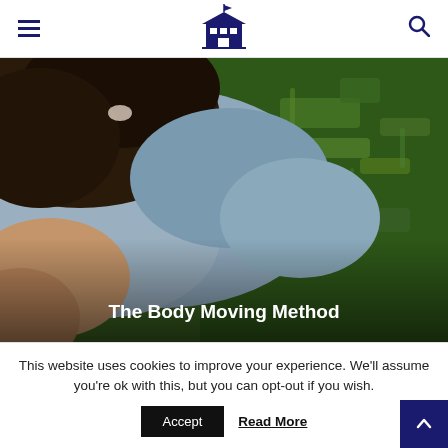Navigation header with hamburger menu, school building logo, and search icon
[Figure (photo): A person lying on grass wearing a light blue shirt with dark hair spread out, viewed from above. Text overlay reads 'The Body Moving Method' in white bold text at the bottom of the image.]
The Body Moving Method
This website uses cookies to improve your experience. We'll assume you're ok with this, but you can opt-out if you wish.
Accept   Read More